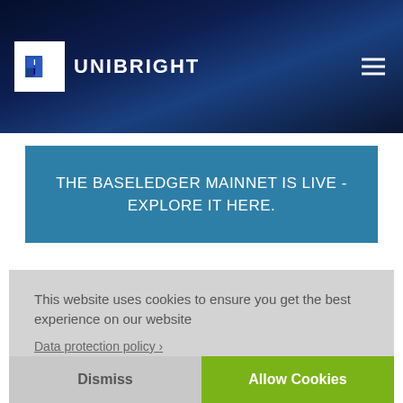UNIBRIGHT
THE BASELEDGER MAINNET IS LIVE - EXPLORE IT HERE.
This website uses cookies to ensure you get the best experience on our website
Data protection policy ›
Dismiss
Allow Cookies